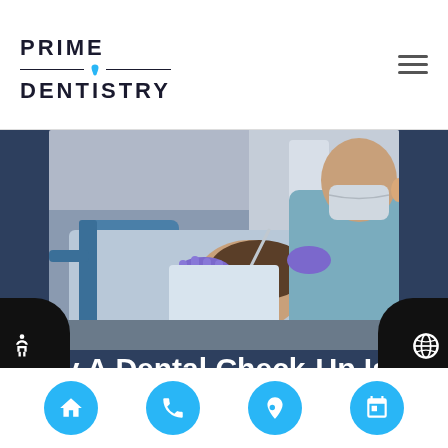PRIME DENTISTRY
[Figure (photo): Dentist in blue gloves and mask performing dental examination on a smiling female patient reclined in dental chair, with dental equipment visible in background]
Why A Dental Check-Up Is Necessary
A dental checkup is one of the most important things